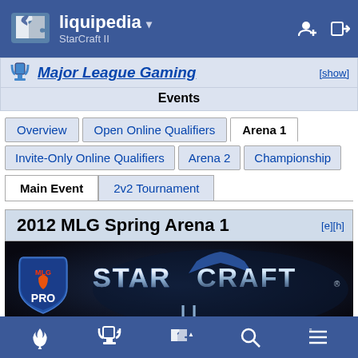liquipedia ▾ StarCraft II
Major League Gaming Events [show]
Overview | Open Online Qualifiers | Arena 1 | Invite-Only Online Qualifiers | Arena 2 | Championship
Main Event | 2v2 Tournament
2012 MLG Spring Arena 1 [e][h]
[Figure (screenshot): StarCraft II MLG Pro logo and StarCraft II title graphic on dark background]
Navigation icons: fire, trophy, puzzle, search, list